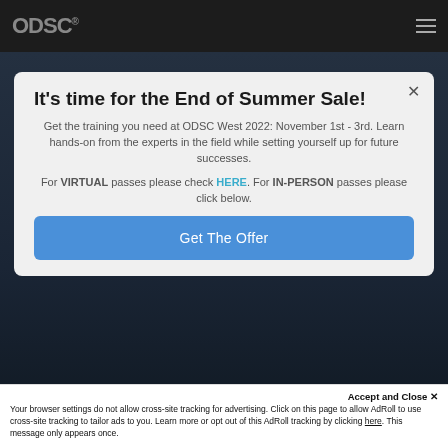ODSC
It's time for the End of Summer Sale!
Get the training you need at ODSC West 2022: November 1st - 3rd. Learn hands-on from the experts in the field while setting yourself up for future successes.
For VIRTUAL passes please check HERE. For IN-PERSON passes please click below.
Get The Offer
Accept and Close ✕
Your browser settings do not allow cross-site tracking for advertising. Click on this page to allow AdRoll to use cross-site tracking to tailor ads to you. Learn more or opt out of this AdRoll tracking by clicking here. This message only appears once.